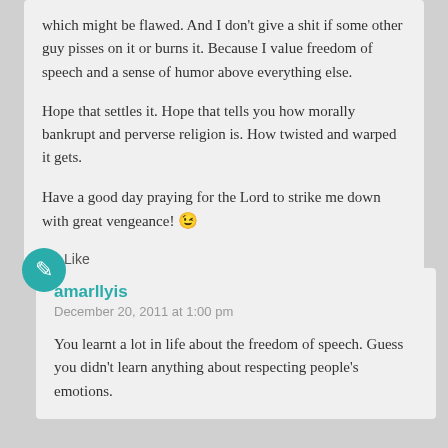which might be flawed. And I don't give a shit if some other guy pisses on it or burns it. Because I value freedom of speech and a sense of humor above everything else.

Hope that settles it. Hope that tells you how morally bankrupt and perverse religion is. How twisted and warped it gets.

Have a good day praying for the Lord to strike me down with great vengeance! 😉
Like
amarllyis
December 20, 2011 at 1:00 pm
You learnt a lot in life about the freedom of speech. Guess you didn't learn anything about respecting people's emotions.